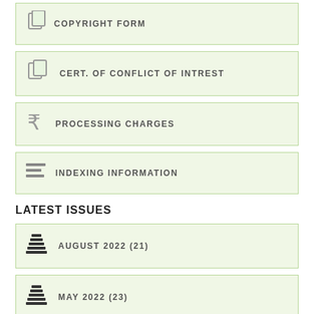COPYRIGHT FORM
CERT. OF CONFLICT OF INTREST
PROCESSING CHARGES
INDEXING INFORMATION
LATEST ISSUES
AUGUST 2022 (21)
MAY 2022 (23)
FEBRUARY 2022 (31)